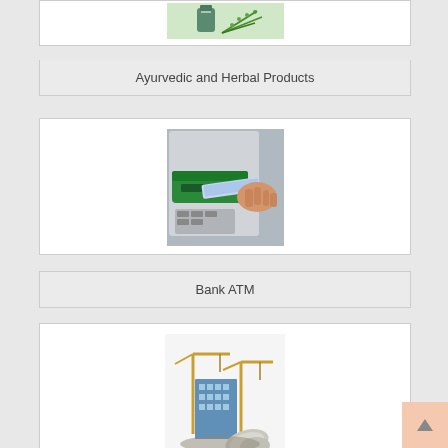[Figure (photo): Herbal/Ayurvedic products photo showing a small bottle and green herbs/rosemary on a light background]
Ayurvedic and Herbal Products
[Figure (photo): Bank ATM photo showing a hand inserting a card into an ATM machine with a green card reader]
Bank ATM
[Figure (photo): Construction illustration showing a building under construction with cranes and blueprints/architectural drawings]